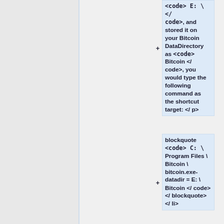<code> E: \ </ code>, and stored it on your Bitcoin DataDirectory as <code> Bitcoin </ code>, you would type the following command as the shortcut target: </ p>
blockquote <code> C: \ Program Files \ Bitcoin \ bitcoin.exe- datadir = E: \ Bitcoin </ code> </ blockquote> </ li>